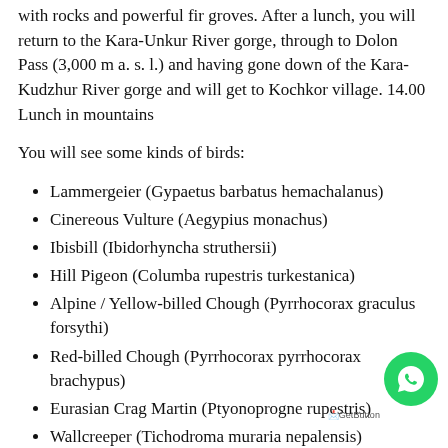with rocks and powerful fir groves. After a lunch, you will return to the Kara-Unkur River gorge, through to Dolon Pass (3,000 m a. s. l.) and having gone down of the Kara-Kudzhur River gorge and will get to Kochkor village. 14.00 Lunch in mountains
You will see some kinds of birds:
Lammergeier (Gypaetus barbatus hemachalanus)
Cinereous Vulture (Aegypius monachus)
Ibisbill (Ibidorhyncha struthersii)
Hill Pigeon (Columba rupestris turkestanica)
Alpine / Yellow-billed Chough (Pyrrhocorax graculus forsythi)
Red-billed Chough (Pyrrhocorax pyrrhocorax brachypus)
Eurasian Crag Martin (Ptyonoprogne rupestris)
Wallcreeper (Tichodroma muraria nepalensis)
Isabellen Wheatear (Oenanthe isabellina)
Citrine wagtail (Motacilla citreola calcarata)